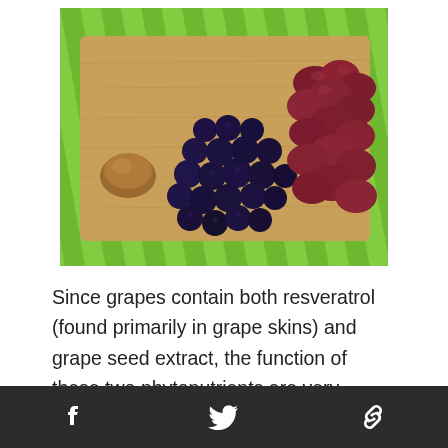[Figure (photo): A wooden cutting board on a green surface holding a pile of dark blueberries in the center, red/purple grapes on the right side, and a hazelnut or chestnut on the left side.]
Since grapes contain both resveratrol (found primarily in grape skins) and grape seed extract, the function of these two phytonutrients are very similar. Grape seed extract comes from, you
Facebook Twitter Link social share bar